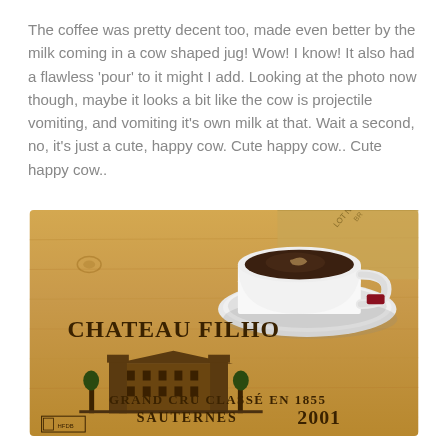The coffee was pretty decent too, made even better by the milk coming in a cow shaped jug! Wow! I know! It also had a flawless 'pour' to it might I add. Looking at the photo now though, maybe it looks a bit like the cow is projectile vomiting, and vomiting it's own milk at that. Wait a second, no, it's just a cute, happy cow. Cute happy cow.. Cute happy cow..
[Figure (photo): A white coffee cup and saucer with dark coffee inside, sitting on a wooden wine crate stamped with 'CHATEAU FILHOT', 'GRAND CRU CLASSÉ EN 1855', 'SAUTERNES', and '2001', along with a chateau illustration.]